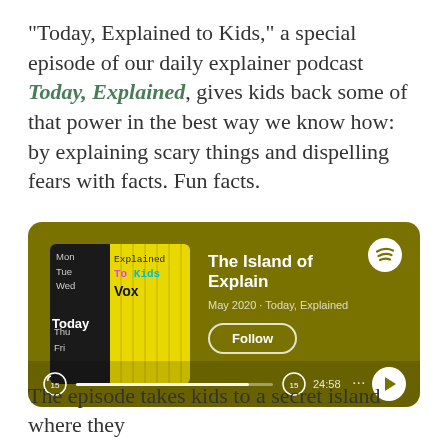“Today, Explained to Kids,” a special episode of our daily explainer podcast Today, Explained, gives kids back some of that power in the best way we know how: by explaining scary things and dispelling fears with facts. Fun facts.
[Figure (screenshot): Spotify podcast player card with olive/dark yellow background showing episode 'The Island of Explain' from Today, Explained, May 2020, with album art showing days of the week on a black/yellow background and a Vox/Today Explained to Kids label, with a Follow button and playback bar showing 24:58]
The episode takes kids to a secret island where they